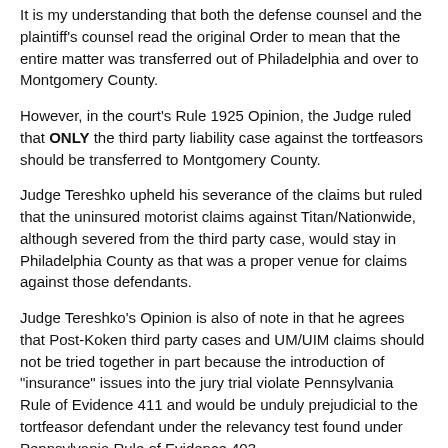It is my understanding that both the defense counsel and the plaintiff's counsel read the original Order to mean that the entire matter was transferred out of Philadelphia and over to Montgomery County.
However, in the court's Rule 1925 Opinion, the Judge ruled that ONLY the third party liability case against the tortfeasors should be transferred to Montgomery County.
Judge Tereshko upheld his severance of the claims but ruled that the uninsured motorist claims against Titan/Nationwide, although severed from the third party case, would stay in Philadelphia County as that was a proper venue for claims against those defendants.
Judge Tereshko's Opinion is also of note in that he agrees that Post-Koken third party cases and UM/UIM claims should not be tried together in part because the introduction of "insurance" issues into the jury trial violate Pennsylvania Rule of Evidence 411 and would be unduly prejudicial to the tortfeasor defendant under the relevancy test found under Pennsylvania Rule of Evidence 403.